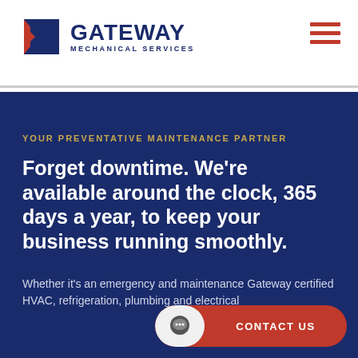[Figure (logo): Gateway Mechanical Services logo with blue and red chevron/triangle icon and bold navy text]
[Figure (other): Three red horizontal lines forming a hamburger menu icon]
YOUR PREVENTATIVE MAINTENANCE PARTNER
Forget downtime. We're available around the clock, 365 days a year, to keep your business running smoothly.
Whether it's an emergency and maintenance Gateway certified HVAC, refrigeration, plumbing and electrical
CONTACT US